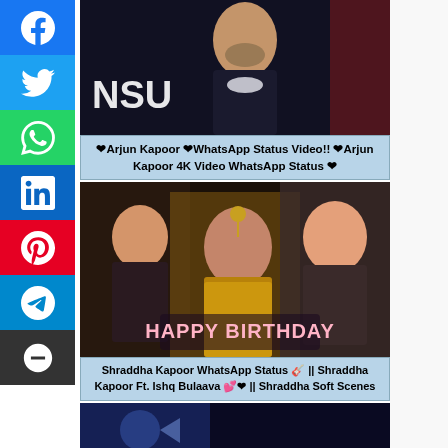[Figure (photo): Photo of Arjun Kapoor at an event with 'NSU' text visible in background]
❤Arjun Kapoor ❤WhatsApp Status Video!! ❤Arjun Kapoor 4K Video WhatsApp Status ❤
[Figure (photo): Composite photo of Bollywood actresses including Shraddha Kapoor with Happy Birthday text]
Shraddha Kapoor WhatsApp Status 🎸 || Shraddha Kapoor Ft. Ishq Bulaava 💕❤ || Shraddha Soft Scenes
[Figure (photo): Partially visible bottom photo card]